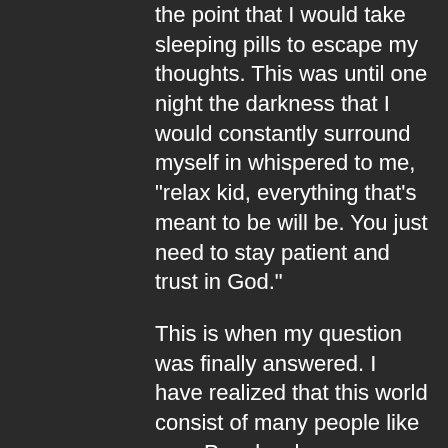the point that I would take sleeping pills to escape my thoughts. This was until one night the darkness that I would constantly surround myself in whispered to me, "relax kid, everything that's meant to be will be. You just need to stay patient and trust in God."
This is when my question was finally answered. I have realized that this world consist of many people like me.  People who are chasing their dreams and trying to find their life's purpose. Through this realization I now know that my purpose is to remind people that they are not